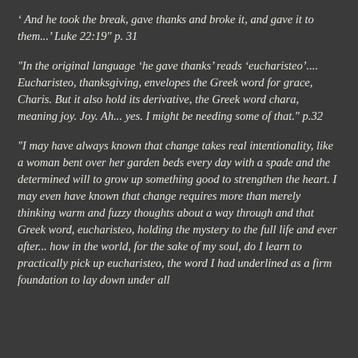' And he took the break, gave thanks and broke it, and gave it to them...' Luke 22:19" p. 31
"In the original language 'he gave thanks' reads 'eucharisteo'.... Eucharisteo, thanksgiving, envelopes the Greek word for grace, Charis. But it also hold its derivative, the Greek word chara, meaning joy. Joy. Ah... yes. I might be needing some of that." p.32
"I may have always known that change takes real intentionality, like a woman bent over her garden beds every day with a spade and the determined will to grow up something good to strengthen the heart. I may even have known that change requires more than merely thinking warm and fuzzy thoughts about a way through and that Greek word, eucharisteo, holding the mystery to the full life and ever after... how in the world, for the sake of my soul, do I learn to practically pick up eucharisteo, the word I had underlined as a firm foundation to lay down under all